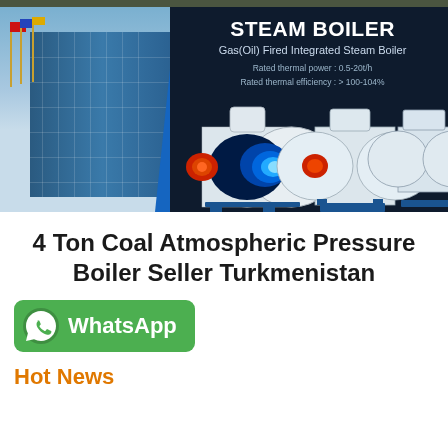[Figure (photo): Dark navy banner showing a steam boiler product advertisement. Left side has a modern glass building with flagpoles. Right side shows three industrial steam boilers (gas/oil fired) in white and blue. Text overlay reads: STEAM BOILER, Gas(Oil) Fired Integrated Steam Boiler, Rated thermal power: 0.5-20t/h, Rated thermal efficiency: > 100-104%.]
4 Ton Coal Atmospheric Pressure Boiler Seller Turkmenistan
[Figure (logo): WhatsApp green button with phone icon and text 'WhatsApp']
Hot News